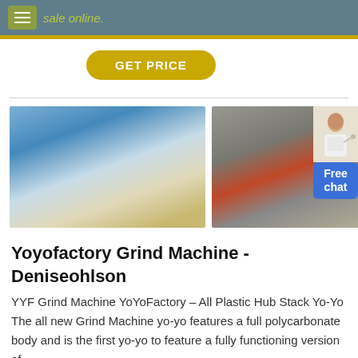sale online.
GET PRICE
[Figure (photo): Three photos of industrial mining/grinding machines outdoors]
Yoyofactory Grind Machine - Deniseohlson
YYF Grind Machine YoYoFactory – All Plastic Hub Stack Yo-Yo The all new Grind Machine yo-yo features a full polycarbonate body and is the first yo-yo to feature a fully functioning version of